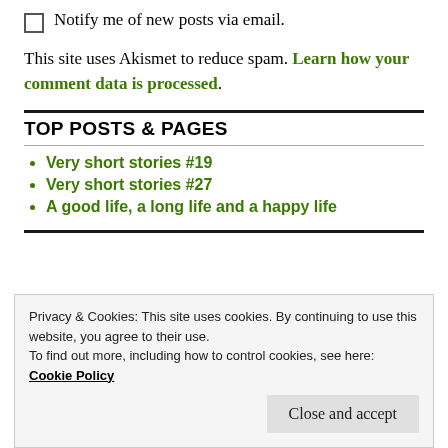Notify me of new posts via email.
This site uses Akismet to reduce spam. Learn how your comment data is processed.
TOP POSTS & PAGES
Very short stories #19
Very short stories #27
A good life, a long life and a happy life
Privacy & Cookies: This site uses cookies. By continuing to use this website, you agree to their use. To find out more, including how to control cookies, see here: Cookie Policy